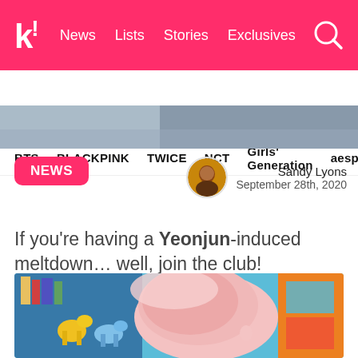k! News  Lists  Stories  Exclusives
BTS  BLACKPINK  TWICE  NCT  Girls' Generation  aespa
[Figure (photo): Partial hero image banner at top of article]
NEWS
Sandy Lyons
September 28th, 2020
If you're having a Yeonjun-induced meltdown… well, join the club!
[Figure (photo): Photo of Yeonjun with pink/blonde hair in front of a blue wall with toy shelves and colorful items in the background]